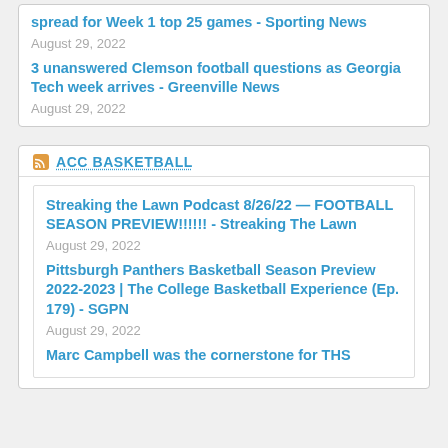spread for Week 1 top 25 games - Sporting News
August 29, 2022
3 unanswered Clemson football questions as Georgia Tech week arrives - Greenville News
August 29, 2022
ACC BASKETBALL
Streaking the Lawn Podcast 8/26/22 — FOOTBALL SEASON PREVIEW!!!!!! - Streaking The Lawn
August 29, 2022
Pittsburgh Panthers Basketball Season Preview 2022-2023 | The College Basketball Experience (Ep. 179) - SGPN
August 29, 2022
Marc Campbell was the cornerstone for THS